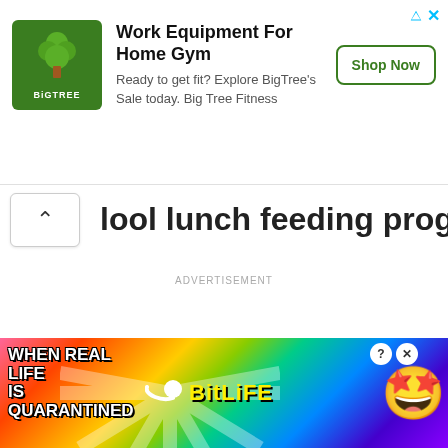[Figure (screenshot): BigTree fitness advertisement banner with green logo, headline 'Work Equipment For Home Gym', subtext 'Ready to get fit? Explore BigTree's Sale today. Big Tree Fitness', and 'Shop Now' button]
lool lunch feeding program.
ADVERTISEMENT
[Figure (screenshot): BitLife mobile game advertisement with rainbow background, text 'WHEN REAL LIFE IS QUARANTINED', BitLife logo with sperm icon, and emoji mascot with stars for eyes and face mask]